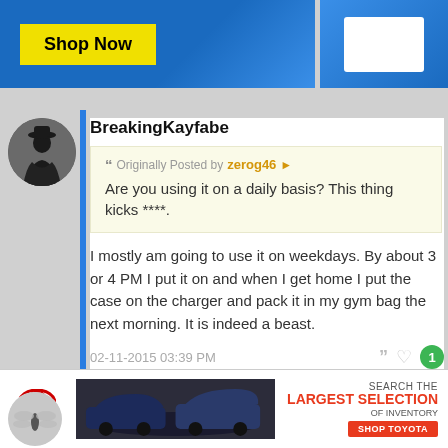[Figure (screenshot): Top advertisement banner with 'Shop Now' yellow button on blue background and white box on right]
BreakingKayfabe
Originally Posted by zerog46
Are you using it on a daily basis? This thing kicks ****.
I mostly am going to use it on weekdays. By about 3 or 4 PM I put it on and when I get home I put the case on the charger and pack it in my gym bag the next morning. It is indeed a beast.
02-11-2015 03:39 PM
Halcyon
[Figure (screenshot): Toyota advertisement banner at bottom showing cars and 'LARGEST SELECTION OF INVENTORY' text]